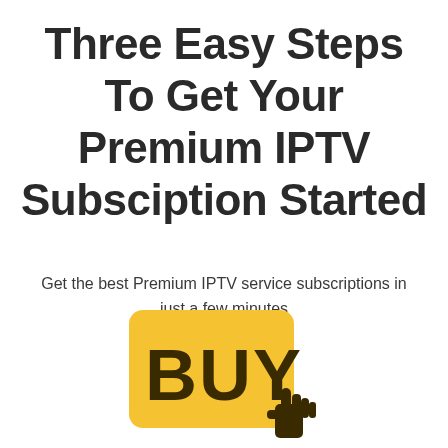Three Easy Steps To Get Your Premium IPTV Subsciption Started
Get the best Premium IPTV service subscriptions in just a few minutes
[Figure (illustration): Yellow rounded rectangle button with the word BUY in large bold letters and a hand cursor icon pointing at it from the lower right]